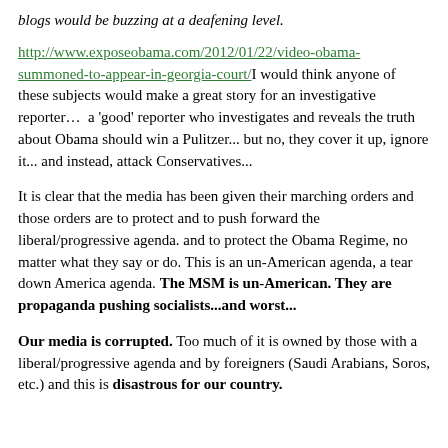blogs would be buzzing at a deafening level.
http://www.exposeobama.com/2012/01/22/video-obama-summoned-to-appear-in-georgia-court/ I would think anyone of these subjects would make a great story for an investigative reporter…  a 'good' reporter who investigates and reveals the truth about Obama should win a Pulitzer... but no, they cover it up, ignore it... and instead, attack Conservatives...
It is clear that the media has been given their marching orders and those orders are to protect and to push forward the liberal/progressive agenda. and to protect the Obama Regime, no matter what they say or do. This is an un-American agenda, a tear down America agenda. The MSM is un-American. They are propaganda pushing socialists...and worst...
Our media is corrupted. Too much of it is owned by those with a liberal/progressive agenda and by foreigners (Saudi Arabians, Soros, etc.) and this is disastrous for our country.